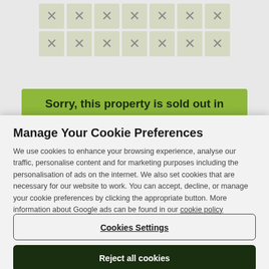[Figure (screenshot): Background showing a calendar grid with X-marked cells in beige/olive color, and a green banner partially visible reading 'Sorry, this property is sold out in']
Manage Your Cookie Preferences
We use cookies to enhance your browsing experience, analyse our traffic, personalise content and for marketing purposes including the personalisation of ads on the internet. We also set cookies that are necessary for our website to work. You can accept, decline, or manage your cookie preferences by clicking the appropriate button. More information about Google ads can be found in our cookie policy
Cookies Settings
Reject all cookies